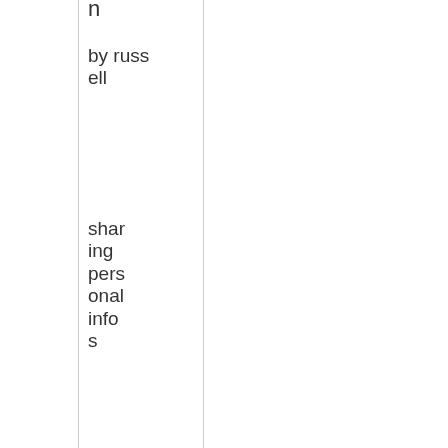n
by russell
sharing personal infos
[Figure (screenshot): Search widget with magnifying glass icon and 'Fin' text partial search box]
[Figure (screenshot): Profile card showing Homer Simpson avatar image, name 'Russ' in green, role 'Genera', and a green 'MA' button]
Russ
Genera
MA